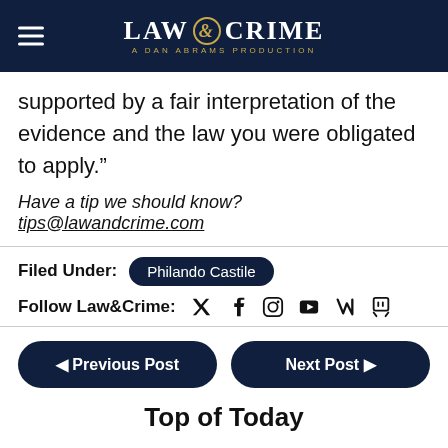[Figure (logo): Law & Crime - A Dan Abrams Production logo with hamburger menu icon on dark navy background]
supported by a fair interpretation of the evidence and the law you were obligated to apply.”
Have a tip we should know? tips@lawandcrime.com
Filed Under: Philando Castile
Follow Law&Crime:
◄ Previous Post    Next Post ►
Top of Today